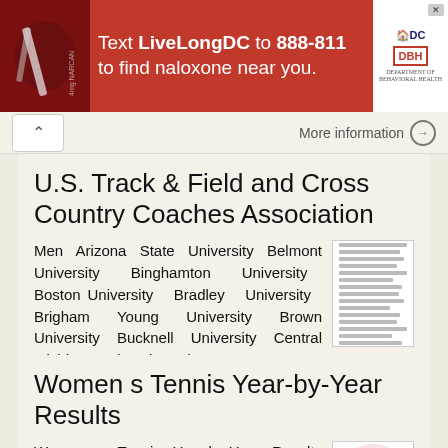[Figure (screenshot): Red advertisement banner: Text LiveLongDC to 888-811 to find naloxone near you. DC and DBH logos on the right.]
More information →
U.S. Track & Field and Cross Country Coaches Association
Men Arizona State University Belmont University Binghamton University Boston University Bradley University Brigham Young University Brown University Bucknell University Central Michigan University Colgate
More information →
Women s Tennis Year-by-Year Results
Women s Tennis Year-by-Year Results Spring 2001 (1-12, 0-7 Big South) 1 GARDNER-WEBB 6 0 at Davidson 6 0 at Wofford 7 0 at UNC Asheville 7 1 at